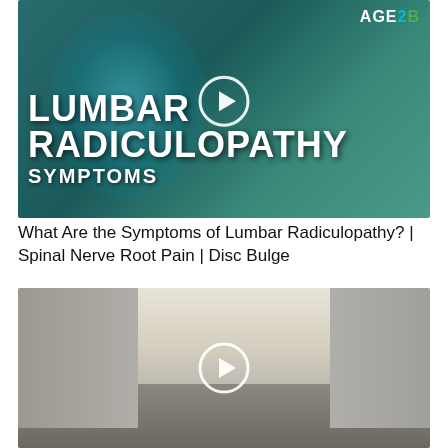[Figure (photo): Video thumbnail for lumbar radiculopathy symptoms. Dark teal background with glowing spine illustration and elderly woman holding her back. White play button circle in center. AGE2B logo top right. Bold white text reads LUMBAR RADICULOPATHY SYMPTOMS.]
What Are the Symptoms of Lumbar Radiculopathy? | Spinal Nerve Root Pain | Disc Bulge
[Figure (photo): Video thumbnail showing a street scene with buildings on either side and a group of people in the middle distance, one person with arms raised. White play button circle in center. Overcast sky.]